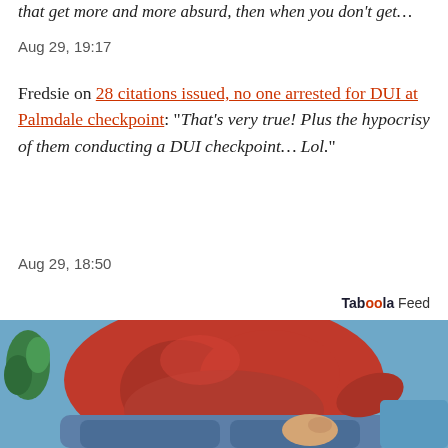that get more and more absurd, then when you don't get…
Aug 29, 19:17
Fredsie on 28 citations issued, no one arrested for DUI at Palmdale checkpoint: "That's very true! Plus the hypocrisy of them conducting a DUI checkpoint… Lol."
Aug 29, 18:50
Tab00la Feed
[Figure (photo): A person in a red long-sleeve shirt and blue jeans sitting on a blue couch, holding their hip/lower back area with one hand, suggesting pain or discomfort. A green plant is partially visible in the background.]